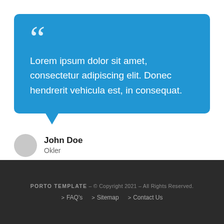Lorem ipsum dolor sit amet, consectetur adipiscing elit. Donec hendrerit vehicula est, in consequat.
John Doe
Okler
PORTO TEMPLATE – © Copyright 2021 – All Rights Reserved. > FAQ's > Sitemap > Contact Us